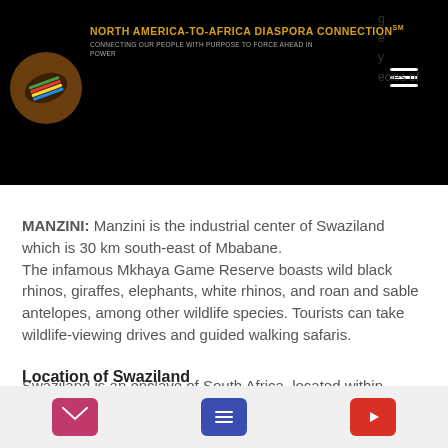NORTH AMERICA-TO-AFRICA DIASPORA CONNECTION℠ — CONNECTING OUR PEOPLE WITH PURPOSE TO FORCE AHEAD IN POWER
MANZINI: Manzini is the industrial center of Swaziland which is 30 km south-east of Mbabane.
The infamous Mkhaya Game Reserve boasts wild black rhinos, giraffes, elephants, white rhinos, and roan and sable antelopes, among other wildlife species. Tourists can take wildlife-viewing drives and guided walking safaris.
Location of Swaziland
Swaziland is an enclave of South Africa, located within Southern Africa, with Mozambique bordering its east. Click here to see a map of Swaziland.
[email icon] [list icon] [YouTube icon]